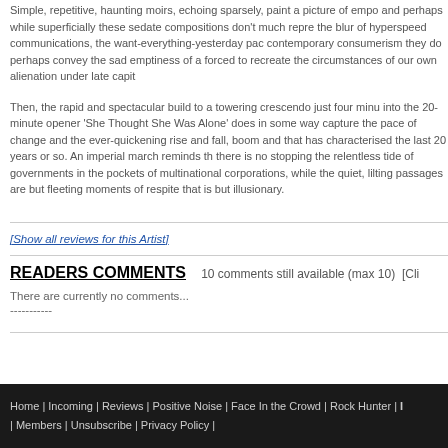Simple, repetitive, haunting moirs, echoing sparsely, paint a picture of emp... and perhaps while superficially these sedate compositions don't much repre... the blur of hyperspeed communications, the want-everything-yesterday pac... contemporary consumerism they do perhaps convey the sad emptiness of a ... forced to recreate the circumstances of our own alienation under late capit...
Then, the rapid and spectacular build to a towering crescendo just four minu... into the 20-minute opener 'She Thought She Was Alone' does in some way capture the pace of change and the ever-quickening rise and fall, boom and... that has characterised the last 20 years or so. An imperial march reminds th... there is no stopping the relentless tide of governments in the pockets of multinational corporations, while the quiet, lilting passages are but fleeting moments of respite that is but illusionary.
[Show all reviews for this Artist]
READERS COMMENTS   10 comments still available (max 10)   [Cli...
There are currently no comments...
-----------
Home | Incoming | Reviews | Positive Noise | Face In the Crowd | Rock Hunter | ... | Members | Unsubscribe | Privacy Policy |